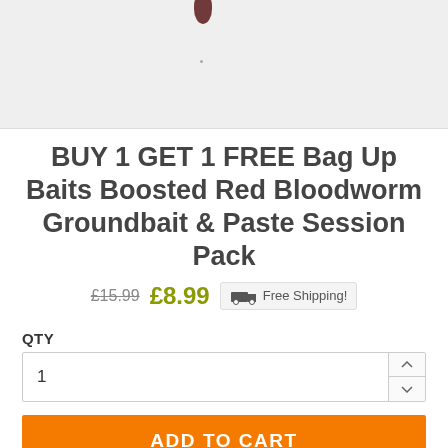[Figure (photo): Partial product image on light grey background, showing top portion of a bait product with a dark reddish element visible at top center]
BUY 1 GET 1 FREE Bag Up Baits Boosted Red Bloodworm Groundbait & Paste Session Pack
£15.99  £8.99  Free Shipping!
QTY
1
ADD TO CART